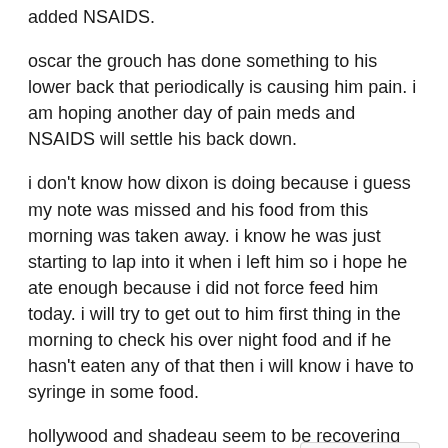added NSAIDS.
oscar the grouch has done something to his lower back that periodically is causing him pain. i am hoping another day of pain meds and NSAIDS will settle his back down.
i don't know how dixon is doing because i guess my note was missed and his food from this morning was taken away. i know he was just starting to lap into it when i left him so i hope he ate enough because i did not force feed him today. i will try to get out to him first thing in the morning to check his over night food and if he hasn't eaten any of that then i will know i have to syringe in some food.
hollywood and shadeau seem to be recovering wel... are both eating now. yay!